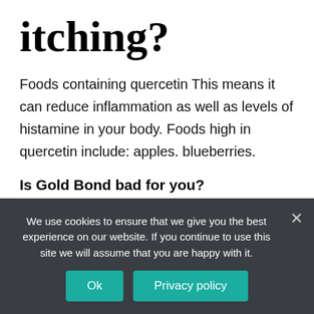itching?
Foods containing quercetin This means it can reduce inflammation as well as levels of histamine in your body. Foods high in quercetin include: apples. blueberries.
Is Gold Bond bad for you?
We use cookies to ensure that we give you the best experience on our website. If you continue to use this site we will assume that you are happy with it.